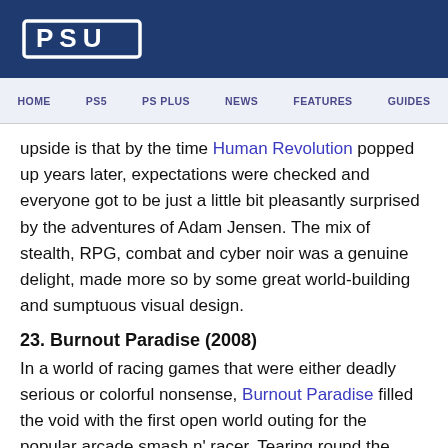PSU
HOME   PS5   PS PLUS   NEWS   FEATURES   GUIDES
upside is that by the time Human Revolution popped up years later, expectations were checked and everyone got to be just a little bit pleasantly surprised by the adventures of Adam Jensen. The mix of stealth, RPG, combat and cyber noir was a genuine delight, made more so by some great world-building and sumptuous visual design.
23. Burnout Paradise (2008)
In a world of racing games that were either deadly serious or colorful nonsense, Burnout Paradise filled the void with the first open world outing for the popular arcade smash n' racer. Tearing round the titular city of